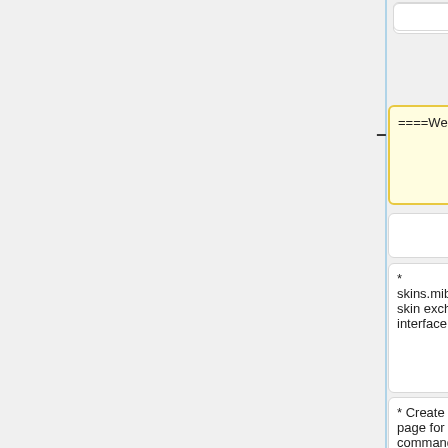====Websites====
===Websites===
* skins.mibbit.com skin exchange interface
* skins.mibbit.com skin exchange interface
* Create a wiki page for all /dset commands. [[User:Havvy|Havvy]] 21:03, 3 February 2008 (UTC) (I modified the Preferences page and added some of them)
* Create a wiki page for all /dset commands. [[User:Havvy|Havvy]] 21:03, 3 February 2008 (UTC) (I modified the Preferences page and added some of them)